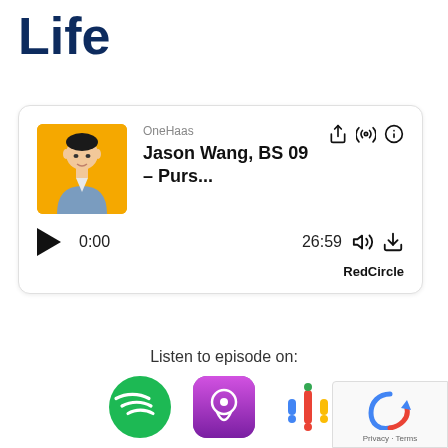Life
[Figure (other): Podcast player card for OneHaas - Jason Wang, BS 09 - Purs... with play button, time 0:00 / 26:59, and RedCircle branding]
Listen to episode on:
[Figure (other): Spotify, Apple Podcasts, and Google Podcasts platform icons]
[Figure (other): reCAPTCHA badge with Privacy - Terms text]